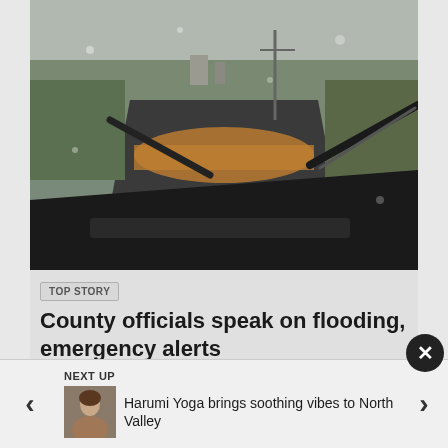[Figure (photo): View from inside a car through the windshield showing a flooded road or wash with muddy brown water flowing across the pavement, surrounded by desert vegetation and brush.]
TOP STORY
County officials speak on flooding, emergency alerts
Aug 24, 2022
The effects of monsoon...
NEXT UP
[Figure (photo): Small thumbnail image of a person, likely related to the Harumi Yoga story.]
Harumi Yoga brings soothing vibes to North Valley